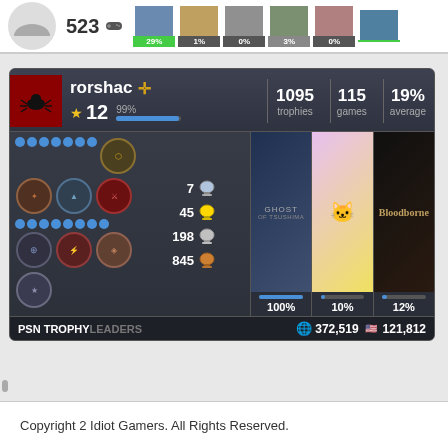[Figure (screenshot): Top partial bar showing score 523 with controller icon and game thumbnails with percentage bars (29%, 1%, 0%, 3%, 0%)]
[Figure (screenshot): PSN Trophy Leaders card for user 'rorshac' showing PlayStation Plus badge, level 12 at 99%, 1095 trophies, 115 games, 19% average. Trophy breakdown: 7 platinum, 45 gold, 198 silver, 845 bronze. Recent games: Ghost of Tsushima (100%), a colorful game (10%), Bloodborne (12%). Global rank 372,519, US rank 121,812.]
Copyright 2 Idiot Gamers. All Rights Reserved.